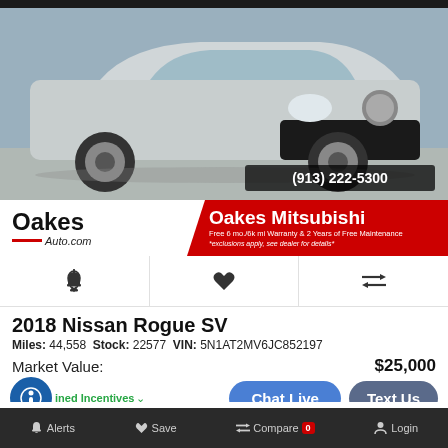[Figure (photo): Silver 2018 Nissan Rogue SUV photographed from front-left angle in a parking lot. Phone number (913) 222-5300 shown in lower right of image.]
[Figure (logo): Oakes Auto.com logo on left, Oakes Mitsubishi banner in red on right with text: Free 6 mo./6k mi Warranty & 2 Years of Free Maintenance. *exclusions apply, see dealer for details*]
[Figure (infographic): Three icon buttons: bell/alert icon, heart/save icon, compare arrows icon]
2018 Nissan Rogue SV
Miles: 44,558   Stock: 22577   VIN: 5N1AT2MV6JC852197
Market Value:                                            $25,000
Combined Incentives ∨
Oakes Price:                                             $24,000
Alerts   Save   Compare 0   Login